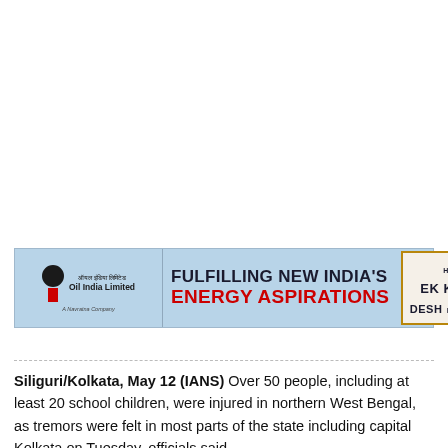[Figure (infographic): Oil India Limited advertisement banner. Left section shows Oil India Limited logo with Hindi text (ऑयल इंडिया लिमिटेड) and 'A Navratna Company' tagline on a light blue background. Center shows text 'FULFILLING NEW INDIA'S ENERGY ASPIRATIONS' in bold dark and red fonts. Right section shows a bordered box with slogan 'HAR EK KAAM DESH KE NAAM' in dark and green text.]
Siliguri/Kolkata, May 12 (IANS) Over 50 people, including at least 20 school children, were injured in northern West Bengal, as tremors were felt in most parts of the state including capital Kolkata on Tuesday, officials said.